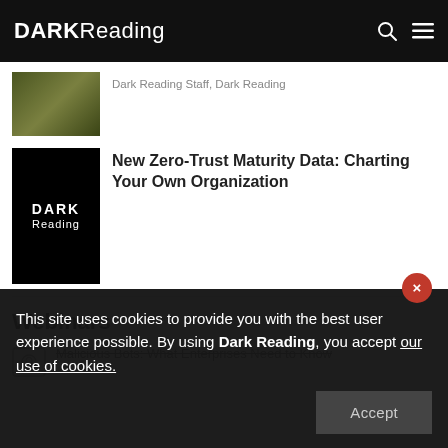DARK Reading
Dark Reading Staff, Dark Reading
New Zero-Trust Maturity Data: Charting Your Own Organization
Webinars
Malicious Bots: What Enterprises Need to Know
This site uses cookies to provide you with the best user experience possible. By using Dark Reading, you accept our use of cookies.